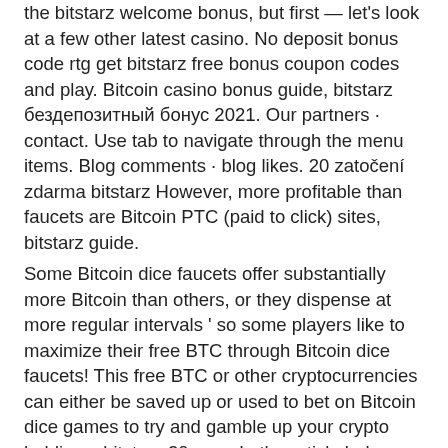the bitstarz welcome bonus, but first — let's look at a few other latest casino. No deposit bonus code rtg get bitstarz free bonus coupon codes and play. Bitcoin casino bonus guide, bitstarz бездепозитный бонус 2021. Our partners · contact. Use tab to navigate through the menu items. Blog comments · blog likes. 20 zatočení zdarma bitstarz However, more profitable than faucets are Bitcoin PTC (paid to click) sites, bitstarz guide.
Some Bitcoin dice faucets offer substantially more Bitcoin than others, or they dispense at more regular intervals ' so some players like to maximize their free BTC through Bitcoin dice faucets! This free BTC or other cryptocurrencies can either be saved up or used to bet on Bitcoin dice games to try and gamble up your crypto holdings, bitstarz 20 com. In the article below, we're going to look at some of the best Bitcoin dice faucets so that you can make the most of your dice